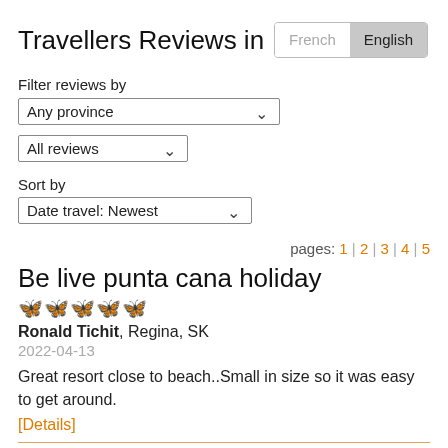Travellers Reviews in French English
Filter reviews by
Any province
All reviews
Sort by
Date travel: Newest
pages: 1 | 2 | 3 | 4 | 5
Be live punta cana holiday
Ronald Tichit, Regina, SK
2022-04-13
Great resort close to beach..Small in size so it was easy to get around.
[Details]